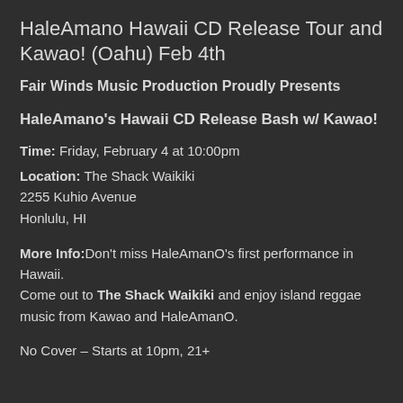HaleAmano Hawaii CD Release Tour and Kawao! (Oahu) Feb 4th
Fair Winds Music Production Proudly Presents
HaleAmano's Hawaii CD Release Bash w/ Kawao!
Time: Friday, February 4 at 10:00pm
Location: The Shack Waikiki
2255 Kuhio Avenue
Honlulu, HI
More Info: Don't miss HaleAmanO's first performance in Hawaii.
Come out to The Shack Waikiki and enjoy island reggae music from Kawao and HaleAmanO.
No Cover – Starts at 10pm, 21+